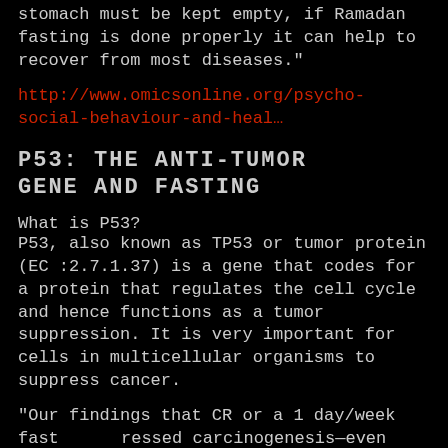stomach must be kept empty, if Ramadan fasting is done properly it can help to recover from most diseases.”
http://www.omicsonline.org/psycho-social-behaviour-and-heal…
P53: THE ANTI-TUMOR GENE AND FASTING
What is P53?
P53, also known as TP53 or tumor protein (EC :2.7.1.37) is a gene that codes for a protein that regulates the cell cycle and hence functions as a tumor suppression. It is very important for cells in multicellular organisms to suppress cancer.
“Our findings that CR or a 1 day/week fast ressed carcinogenesis—even when d late in life in mice predestined to develop tumors due to decreased p53 gene dosage—support efforts to identify suitable